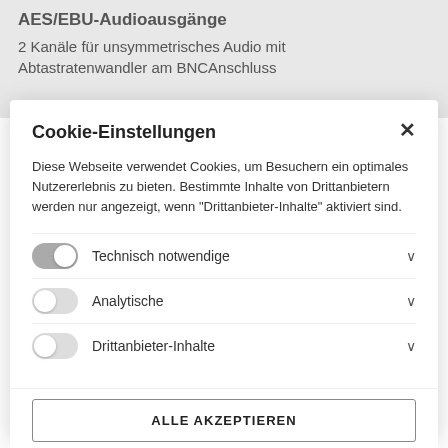AES/EBU-Audioausgänge
2 Kanäle für unsymmetrisches Audio mit Abtastratenwandler am BNCAnschluss
Cookie-Einstellungen
Diese Webseite verwendet Cookies, um Besuchern ein optimales Nutzererlebnis zu bieten. Bestimmte Inhalte von Drittanbietern werden nur angezeigt, wenn "Drittanbieter-Inhalte" aktiviert sind.
Technisch notwendige
Analytische
Drittanbieter-Inhalte
ALLE AKZEPTIEREN
SPEICHERN